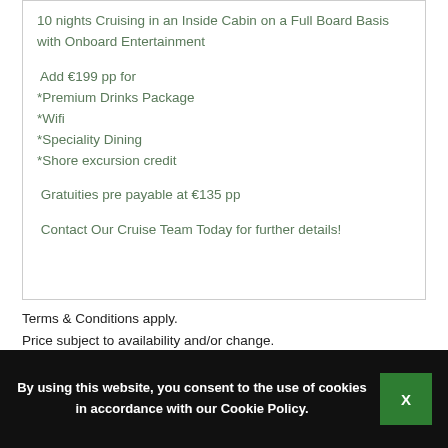10 nights Cruising in an Inside Cabin on a Full Board Basis with Onboard Entertainment

Add €199 pp for
*Premium Drinks Package
*Wifi
*Speciality Dining
*Shore excursion credit

Gratuities pre payable at €135 pp

Contact Our Cruise Team Today for further details!
Terms & Conditions apply.
Price subject to availability and/or change.
By using this website, you consent to the use of cookies in accordance with our Cookie Policy.